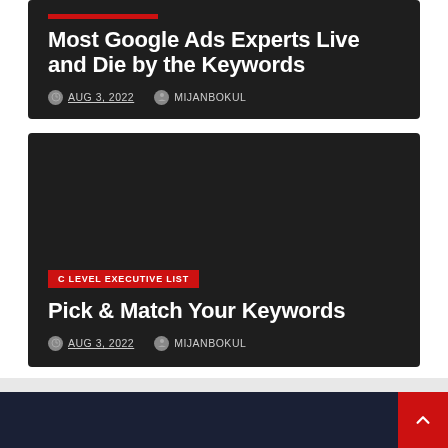Most Google Ads Experts Live and Die by the Keywords
AUG 3, 2022  MIJANBOKUL
C LEVEL EXECUTIVE LIST
Pick & Match Your Keywords
AUG 3, 2022  MIJANBOKUL